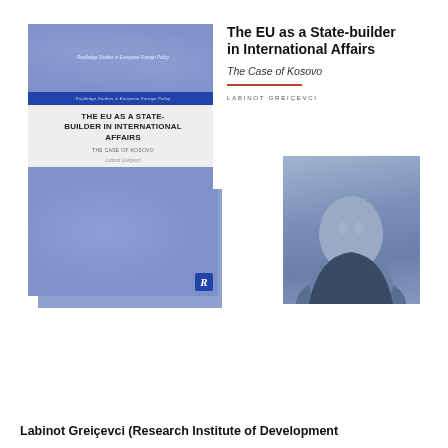[Figure (illustration): Book cover and author photo composite. Left: Routledge book cover titled 'THE EU AS A STATE-BUILDER IN INTERNATIONAL AFFAIRS: THE CASE OF KOSOVO' by Labinot Greiçevci, with blue decorative pattern and Routledge R logo. Right: bold title text 'The EU as a State-builder in International Affairs', subtitle 'The Case of Kosovo', author name 'LABINOT GREIÇEVCI', and a blue-toned photo of the author.]
Labinot Greiçevci (Research Institute of Development